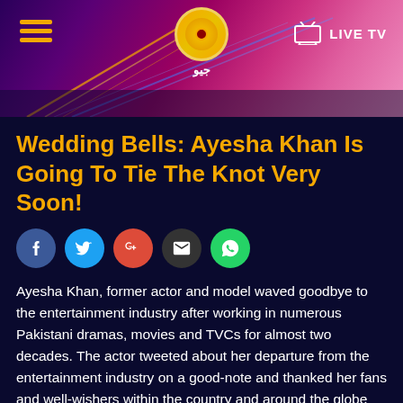Geo TV - Wedding Bells: Ayesha Khan Is Going To Tie The Knot Very Soon!
Wedding Bells: Ayesha Khan Is Going To Tie The Knot Very Soon!
[Figure (infographic): Social media share buttons: Facebook, Twitter, Google+, Email, WhatsApp]
Ayesha Khan, former actor and model waved goodbye to the entertainment industry after working in numerous Pakistani dramas, movies and TVCs for almost two decades. The actor tweeted about her departure from the entertainment industry on a good-note and thanked her fans and well-wishers within the country and around the globe for admiring her as an actor!